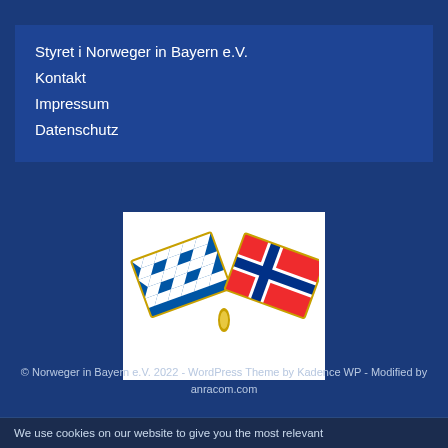Styret i Norweger in Bayern e.V.
Kontakt
Impressum
Datenschutz
[Figure (photo): A crossed flag pin showing the Bavarian blue-and-white diamond flag and the Norwegian red, white, and blue cross flag on a white background.]
© Norweger in Bayern e.V. 2022 - WordPress Theme by Kadence WP - Modified by anracom.com
We use cookies on our website to give you the most relevant